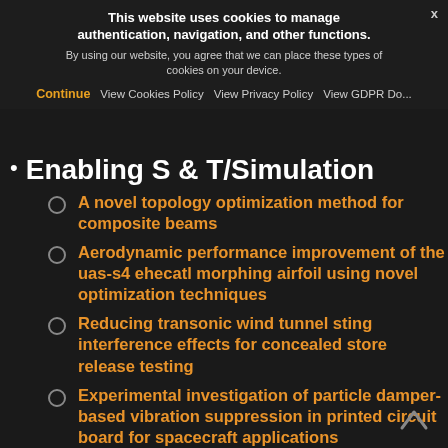This website uses cookies to manage authentication, navigation, and other functions. By using our website, you agree that we can place these types of cookies on your device.
Continue | View Cookies Policy | View Privacy Policy | View GDPR Do...
Enabling S & T/Simulation
A novel topology optimization method for composite beams
Aerodynamic performance improvement of the uas-s4 ehecatl morphing airfoil using novel optimization techniques
Reducing transonic wind tunnel sting interference effects for concealed store release testing
Experimental investigation of particle damper-based vibration suppression in printed circuit board for spacecraft applications